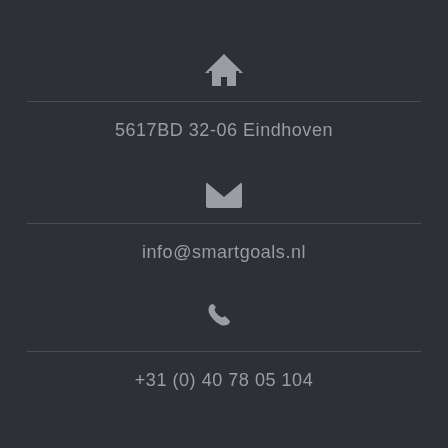[Figure (illustration): House/home icon in grey]
5617BD 32-06 Eindhoven
[Figure (illustration): Envelope/email icon in grey]
info@smartgoals.nl
[Figure (illustration): Phone/telephone icon in grey]
+31 (0) 40 78 05 104